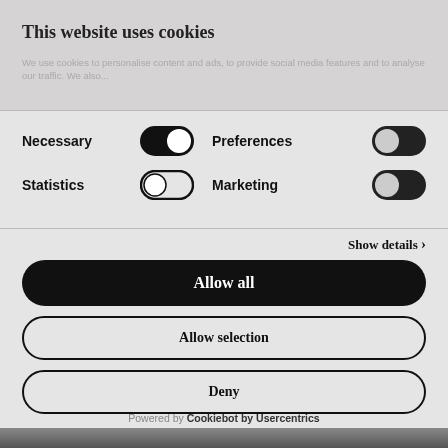[Figure (screenshot): Top strip of a background photo visible behind the cookie consent modal]
This website uses cookies
We use cookies to personalise content and ads, to provide social media features and to analyse our traffic. We also...
Necessary [toggle on] Preferences [toggle off] Statistics [toggle off] Marketing [toggle off]
Show details ›
Allow all
Allow selection
Deny
Powered by Cookiebot by Usercentrics
[Figure (screenshot): Bottom strip of a background photo visible below the cookie consent modal]